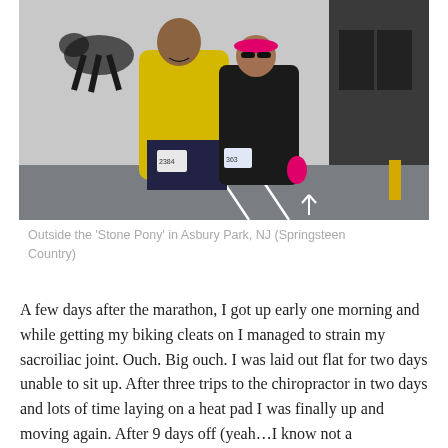[Figure (photo): Two people posing outside the Stone Pony venue in Asbury Park, NJ. One person wears a yellow long-sleeve shirt and the other wears all black with a pink visor and pink gloves. Both have race bibs pinned on. The background shows a parking lot and a building with a horse mural.]
Outside the 'Stone Pony' in Asbury Park, NJ (Springsteen Country)
A few days after the marathon, I got up early one morning and while getting my biking cleats on I managed to strain my sacroiliac joint. Ouch. Big ouch. I was laid out flat for two days unable to sit up. After three trips to the chiropractor in two days and lots of time laying on a heat pad I was finally up and moving again. After 9 days off (yeah…I know not a